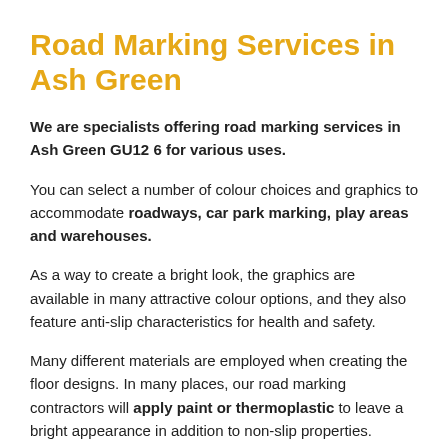Road Marking Services in Ash Green
We are specialists offering road marking services in Ash Green GU12 6 for various uses.
You can select a number of colour choices and graphics to accommodate roadways, car park marking, play areas and warehouses.
As a way to create a bright look, the graphics are available in many attractive colour options, and they also feature anti-slip characteristics for health and safety.
Many different materials are employed when creating the floor designs. In many places, our road marking contractors will apply paint or thermoplastic to leave a bright appearance in addition to non-slip properties.
All of the installations will vary so we are able to check out exactly what you need and provide the ideal specifications to suit your